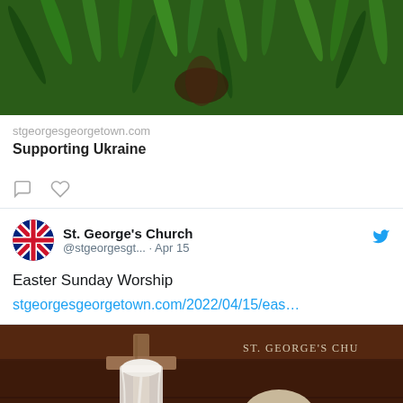[Figure (photo): Green plant foliage background image, top portion of a tweet card]
stgeorgesgeorgetown.com
Supporting Ukraine
[Figure (other): Comment icon (speech bubble outline) and heart/like icon in gray]
[Figure (other): St. George's Church Twitter profile avatar - circular Union Jack flag design]
St. George's Church @stgeorgesgt... · Apr 15
Easter Sunday Worship
stgeorgesgeorgetown.com/2022/04/15/eas…
[Figure (photo): Photo of wooden cross with white cloth draped over it, surrounded by plants, rocks, and flowers. Text overlay reads ST. GEORGE'S CHU...]